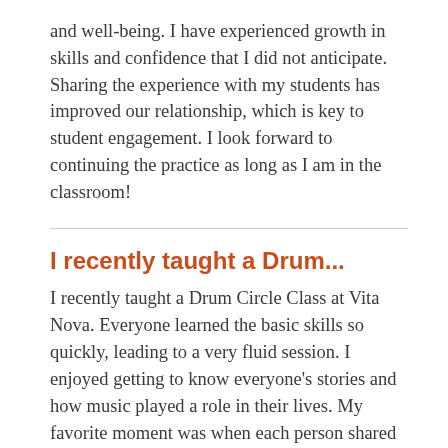and well-being. I have experienced growth in skills and confidence that I did not anticipate. Sharing the experience with my students has improved our relationship, which is key to student engagement. I look forward to continuing the practice as long as I am in the classroom!
I recently taught a Drum...
I recently taught a Drum Circle Class at Vita Nova. Everyone learned the basic skills so quickly, leading to a very fluid session. I enjoyed getting to know everyone's stories and how music played a role in their lives. My favorite moment was when each person shared a song that meant a lot to them; they then tried to